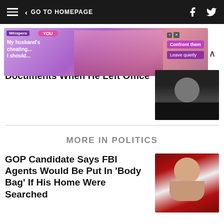GO TO HOMEPAGE
[Figure (photo): Advertisement banner showing animated characters with text 'My husband's cheating... I should...' with buttons 'Confront them' and 'Leave quietly']
Documents When He Left Office
[Figure (photo): Photo of a man in a dark shirt]
MORE IN POLITICS
GOP Candidate Says FBI Agents Would Be Put In 'Body Bag' If His Home Were Searched
[Figure (photo): Photo of a bald man in front of an American flag]